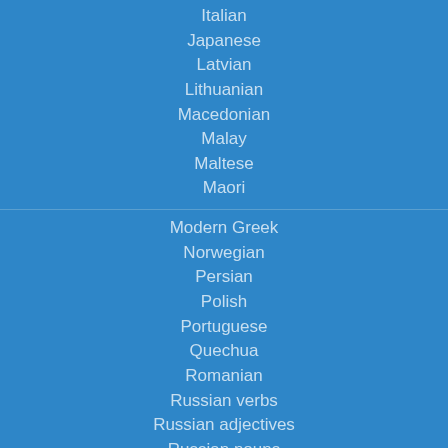Italian
Japanese
Latvian
Lithuanian
Macedonian
Malay
Maltese
Maori
Modern Greek
Norwegian
Persian
Polish
Portuguese
Quechua
Romanian
Russian verbs
Russian adjectives
Russian nouns
Spanish